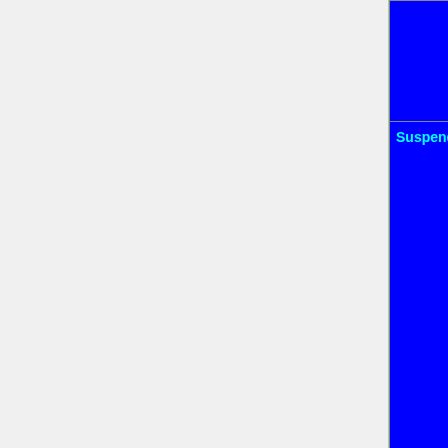| Feature | Status |
| --- | --- |
| (partial row, blue) | ...yellow }} | TODO |
| Suspend | OK=lime | TODO=red | No=red | WIP=orange | Untested=green | N/A=lightgray | N/A=lightgray | unknown {{" | Untested |
| Nonstandard LEDs | OK=lime | TODO=red | No=red | WIP=orange | Untested=yellow | N/A=lightgray | yellow }}" | N/A |
| High precision event timers (HPET) | OK=lime | TODO=red | No=red | WIP=orange | Untested=yellow | N/A=lightgra |